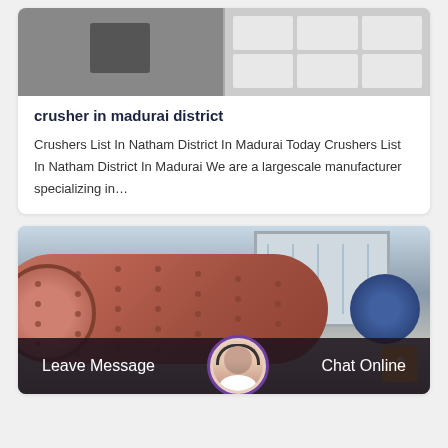[Figure (photo): Photo of industrial crusher machinery, showing two parts: dark metal crusher on left, white grid-patterned component on right]
crusher in madurai district
Crushers List In Natham District In Madurai Today Crushers List In Natham District In Madurai We are a largescale manufacturer specializing in…
[Figure (photo): Photo of a large red industrial ball mill machine in front of a building with windows, with a blue circular end cap visible on the right]
Leave Message
Chat Online